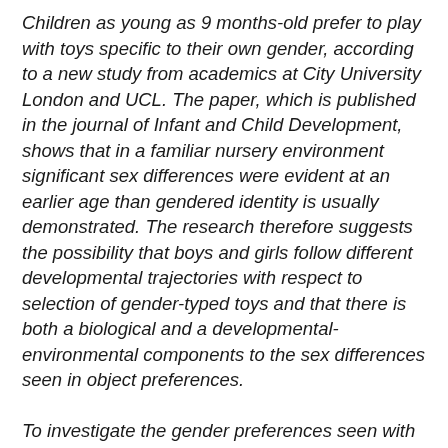Children as young as 9 months-old prefer to play with toys specific to their own gender, according to a new study from academics at City University London and UCL. The paper, which is published in the journal of Infant and Child Development, shows that in a familiar nursery environment significant sex differences were evident at an earlier age than gendered identity is usually demonstrated. The research therefore suggests the possibility that boys and girls follow different developmental trajectories with respect to selection of gender-typed toys and that there is both a biological and a developmental-environmental components to the sex differences seen in object preferences. To investigate the gender preferences seen with toys, the researchers observed the toy preferences of boys and girls engaged in independent play in UK nurseries, without the presence of parents. The study, published in the study...